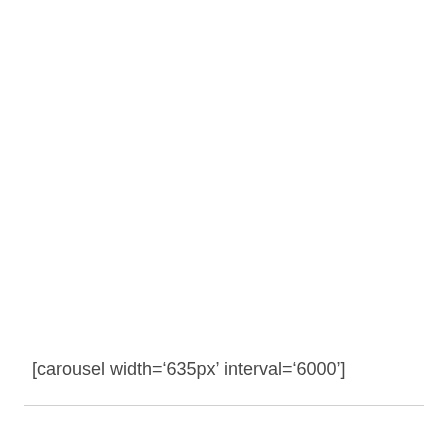[carousel width='635px' interval='6000']